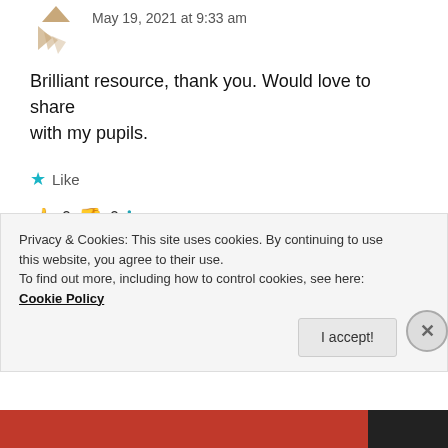May 19, 2021 at 9:33 am
Brilliant resource, thank you. Would love to share with my pupils.
★ Like
👍 0 👎 0 ℹ Rate This
REPLY
RITU
Privacy & Cookies: This site uses cookies. By continuing to use this website, you agree to their use.
To find out more, including how to control cookies, see here: Cookie Policy
I accept!